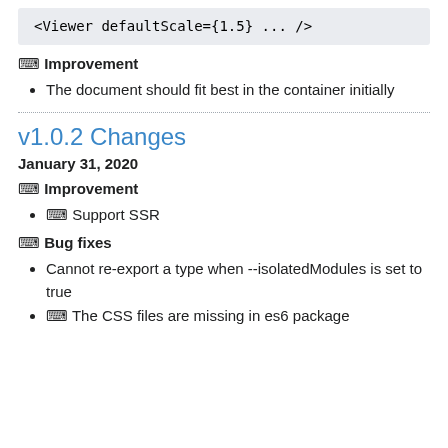<Viewer defaultScale={1.5} ... />
🔧 Improvement
The document should fit best in the container initially
v1.0.2 Changes
January 31, 2020
🔧 Improvement
🔧 Support SSR
🐛 Bug fixes
Cannot re-export a type when --isolatedModules is set to true
🐛 The CSS files are missing in es6 package